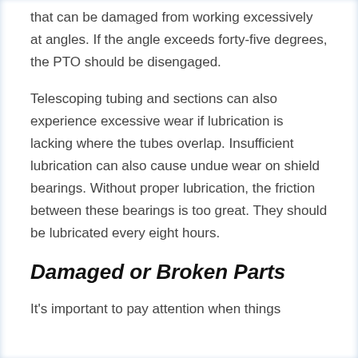that can be damaged from working excessively at angles. If the angle exceeds forty-five degrees, the PTO should be disengaged.
Telescoping tubing and sections can also experience excessive wear if lubrication is lacking where the tubes overlap. Insufficient lubrication can also cause undue wear on shield bearings. Without proper lubrication, the friction between these bearings is too great. They should be lubricated every eight hours.
Damaged or Broken Parts
It's important to pay attention when things